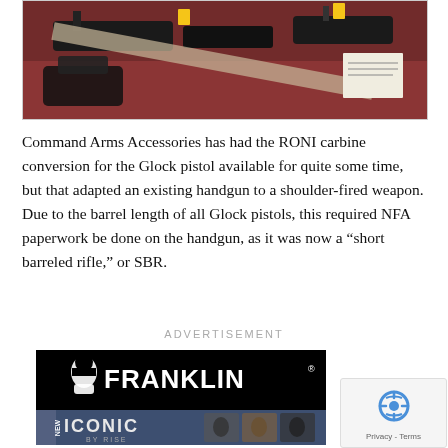[Figure (photo): Photo of guns/firearms displayed on a dark red surface at what appears to be a gun show or display table. Yellow tags visible on some items.]
Command Arms Accessories has had the RONI carbine conversion for the Glock pistol available for quite some time, but that adapted an existing handgun to a shoulder-fired weapon. Due to the barrel length of all Glock pistols, this required NFA paperwork be done on the handgun, as it was now a “short barreled rifle,” or SBR.
ADVERTISEMENT
[Figure (advertisement): Franklin Armory advertisement showing FRANKLIN brand name with head silhouette logo, and ICONIC BY RISE product branding with gun trigger images. Black background with a NEW tag on the left side.]